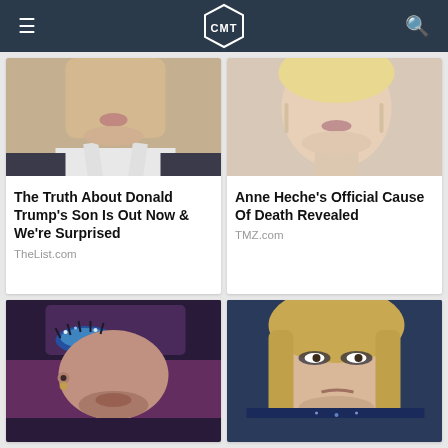CMT
[Figure (photo): Close-up photo of Donald Trump's son, cropped at chin and shoulders, wearing a suit]
The Truth About Donald Trump's Son Is Out Now & We're Surprised
TheList.com
[Figure (photo): Close-up photo of Anne Heche, blonde woman with dangling earrings]
Anne Heche's Official Cause Of Death Revealed
TMZ.com
[Figure (photo): Close-up photo of Adam Lambert with dramatic blue glitter eye makeup and beard]
[Figure (photo): Close-up photo of Kelly Clarkson with blonde hair at awards show]